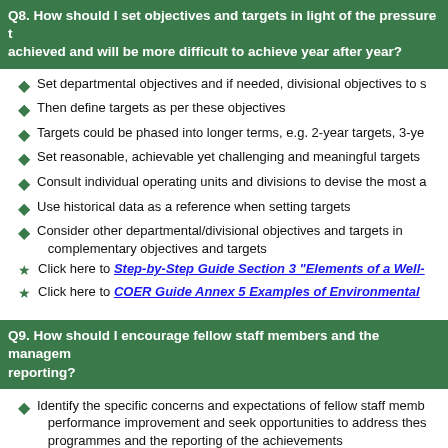Q8. How should I set objectives and targets in light of the pressure that easy targets have been achieved and will be more difficult to achieve year after year?
Set departmental objectives and if needed, divisional objectives to support these
Then define targets as per these objectives
Targets could be phased into longer terms, e.g. 2-year targets, 3-year targets
Set reasonable, achievable yet challenging and meaningful targets
Consult individual operating units and divisions to devise the most appropriate targets
Use historical data as a reference when setting targets
Consider other departmental/divisional objectives and targets in order to develop complementary objectives and targets
Click here to Step-by-Step Guide Section 3 "Elements of a Well-structured EMRS"
Click here to COER Guide Annex 5 Examples of Environmental Performance Targets
Q9. How should I encourage fellow staff members and the management to participate in environmental reporting?
Identify the specific concerns and expectations of fellow staff members with regard to environmental performance improvement and seek opportunities to address these through the environmental programmes and the reporting of the achievements
Example: the achievement of environmental measures suggested and implemented; environmental awards won by the department/bureau/organization; environmental issues with senior management involvement, etc.
Reporting as a means to measure, evaluate, reflect upon and plan for continuous environmental improvement